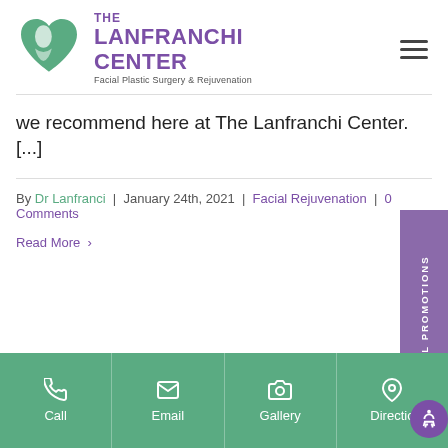[Figure (logo): The Lanfranchi Center logo — green heart shape with a face silhouette, purple text reading THE LANFRANCHI CENTER, Facial Plastic Surgery & Rejuvenation]
we recommend here at The Lanfranchi Center. [...]
By Dr Lanfranci | January 24th, 2021 | Facial Rejuvenation | 0 Comments
Read More >
SPECIAL PROMOTIONS
Call
Email
Gallery
Directions